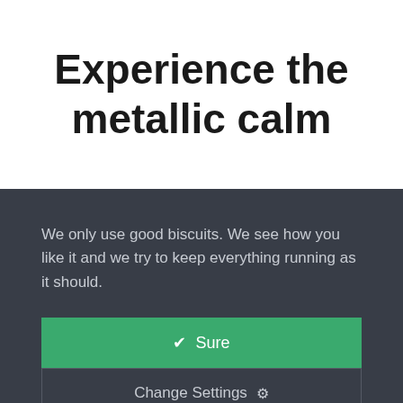Experience the metallic calm
We only use good biscuits. We see how you like it and we try to keep everything running as it should.
Sure
Change Settings